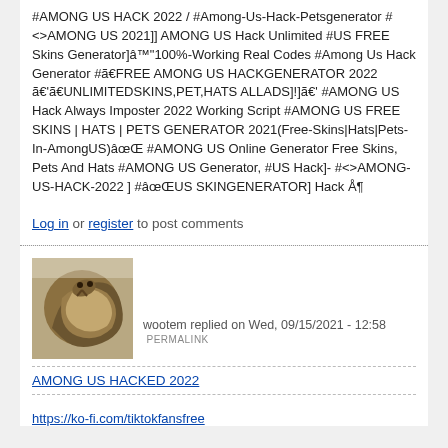#AMONG US HACK 2022 / #Among-Us-Hack-Petsgenerator #<>AMONG US 2021]] AMONG US Hack Unlimited #US FREE Skins Generator]â™100%-Working Real Codes #Among Us Hack Generator #ã€FREE AMONG US HACKGENERATOR 2022 ã€'ã€UNLIMITEDSKINS,PET,HATS ALLADS]!]ã€' #AMONG US Hack Always Imposter 2022 Working Script #AMONG US FREE SKINS | HATS | PETS GENERATOR 2021(Free-Skins|Hats|Pets-In-AmongUS)ãœŒ #AMONG US Online Generator Free Skins, Pets And Hats #AMONG US Generator, #US Hack]- #<>AMONG-US-HACK-2022 ] #ãœŒUS SKINGENERATOR] Hack Å¶
Log in or register to post comments
[Figure (photo): Avatar image of user wootem, showing an animal (appears to be a snake or similar reptile, brown/tan coloring)]
wootem replied on Wed, 09/15/2021 - 12:58 PERMALINK
AMONG US HACKED 2022
https://ko-fi.com/tiktokfansfree